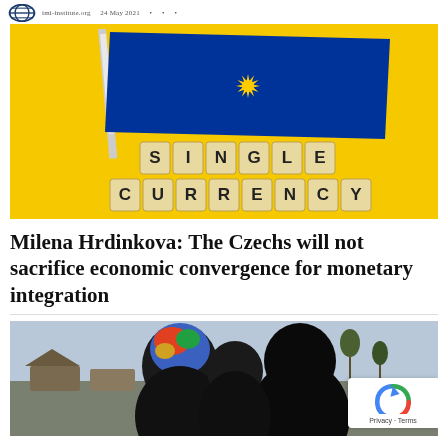[Figure (photo): EU flag on yellow background with Scrabble tiles spelling SINGLE CURRENCY below it]
Milena Hrdinkova: The Czechs will not sacrifice economic convergence for monetary integration
[Figure (photo): Two women wearing headscarves/niqabs viewed from behind in an outdoor setting]